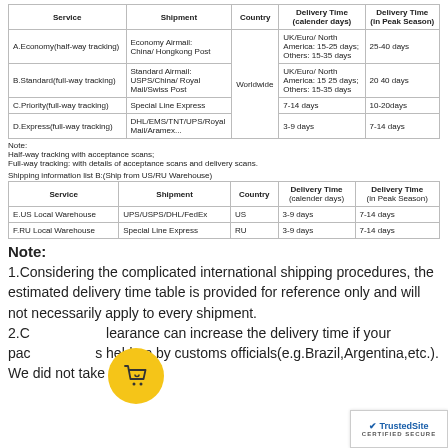| Service | Shipment | Country | Delivery Time (calender days) | Delivery Time (in Peak Season) |
| --- | --- | --- | --- | --- |
| A.Economy(half-way tracking) | Economy Airmail: China/ Hongkong Post | Worldwide | UK/Euro/ North America: 15-25 days; Others: 15-35 days | 25-40 days |
| B.Standard(full-way tracking) | Standard Airmail: USPS/China/ Royal Mail/Swiss Post | Worldwide | UK/Euro/ North America: 15 25 days; Others: 15-35 days | 20 40 days |
| C.Priority(full-way tracking) | Special Line Express | Worldwide | 7-14 days | 10-20days |
| D.Express(full-way tracking) | DHL/EMS/TNT/UPS/Royal Mail/Aramex... | Worldwide | 3-9 days | 7-14 days |
Note:
Half-way tracking with acceptance scans;
Full-way tracking: with details of acceptance scans and delivery scans.
Shipping information list B:(Ship from US/RU Warehouse)
| Service | Shipment | Country | Delivery Time (calender days) | Delivery Time (in Peak Season) |
| --- | --- | --- | --- | --- |
| E.US Local Warehouse | UPS/USPS/DHL/FedEx | US | 3-9 days | 7-14 days |
| F.RU Local Warehouse | Special Line Express | RU | 3-9 days | 7-14 days |
Note:
1.Considering the complicated international shipping procedures, the estimated delivery time table is provided for reference only and will not necessarily apply to every shipment. 2.Customs clearance can increase the delivery time if your packages held up by customs officials(e.g.Brazil,Argentina,etc.). We did not take the responsibility for delays or terminations at customs.